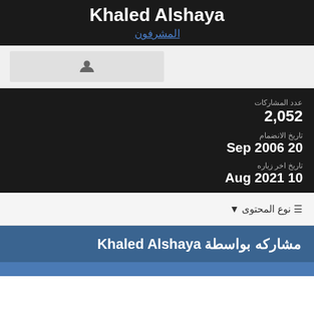Khaled Alshaya
المشرفون
[Figure (other): User avatar placeholder with person icon]
عدد المشاركات
2,052
تاريخ الانضمام
Sep 2006 20
تاريخ اخر زياره
Aug 2021 10
≡ نوع المحتوى ▼
مشاركه بواسطة Khaled Alshaya